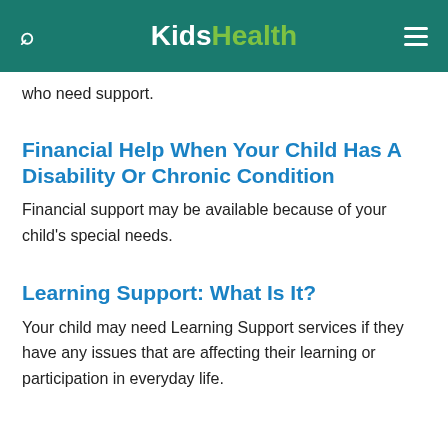KidsHealth
who need support.
Financial Help When Your Child Has A Disability Or Chronic Condition
Financial support may be available because of your child's special needs.
Learning Support: What Is It?
Your child may need Learning Support services if they have any issues that are affecting their learning or participation in everyday life.